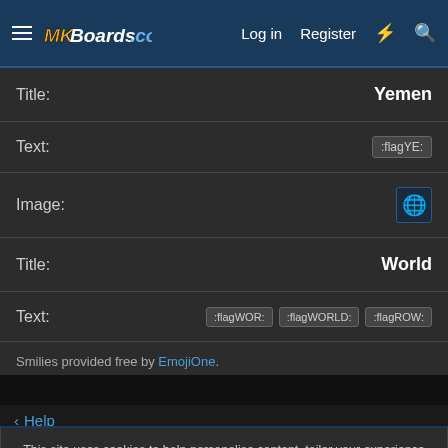MKBoards.com — Log in | Register
Title: Yemen
Text: :flagYE:
[Figure (other): Globe emoji icon]
Image:
Title: World
Text: :flagWOR: :flagWORLD: :flagROW:
Smilies provided free by EmojiOne.
< Help
This site uses cookies to help personalise content, tailor your experience and to keep you logged in if you register. By continuing to use this site, you are consenting to our use of cookies.
✔ Accept | Learn more...